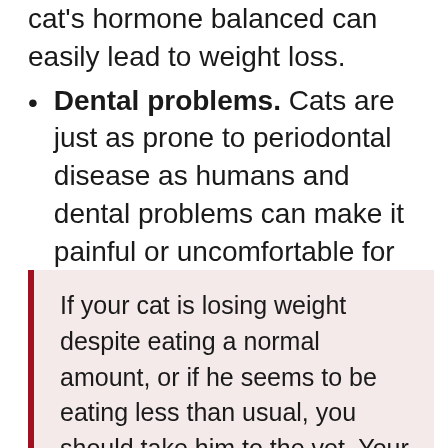cat's hormone balanced can easily lead to weight loss.
Dental problems. Cats are just as prone to periodontal disease as humans and dental problems can make it painful or uncomfortable for the cat to eat.
If your cat is losing weight despite eating a normal amount, or if he seems to be eating less than usual, you should take him to the vet. Your veterinarian will be able to diagnose the underlying cause of your cat's change in weight or appetite and